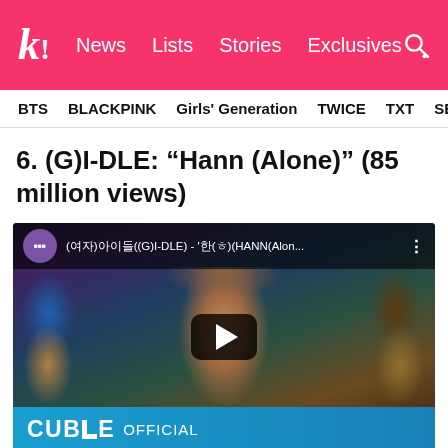kk! News  Lists  Stories  Exclusives
BTS  BLACKPINK  Girls' Generation  TWICE  TXT  SEVE
6. (G)I-DLE: “Hann (Alone)” (85 million views)
[Figure (screenshot): YouTube video thumbnail for (G)I-DLE HANN(Alone) music video on CUBE OFFICIAL channel, showing a female K-pop artist seated in an ornate chair with a play button overlay and CUBE OFFICIAL branding at the bottom]